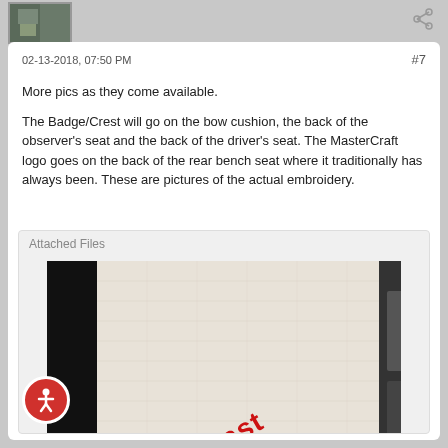[Figure (photo): Small avatar/thumbnail image in top left showing a partial photo]
02-13-2018, 07:50 PM
#7
More pics as they come available.

The Badge/Crest will go on the bow cushion, the back of the observer's seat and the back of the driver's seat. The MasterCraft logo goes on the back of the rear bench seat where it traditionally has always been. These are pictures of the actual embroidery.
Attached Files
[Figure (photo): Close-up photo of white boat upholstery/cushion with red MasterCraft logo embroidery, black trim visible on sides]